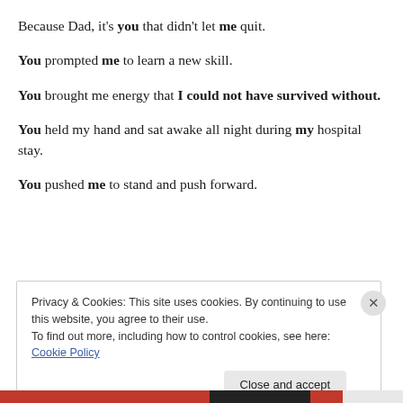Because Dad, it's you that didn't let me quit.
You prompted me to learn a new skill.
You brought me energy that I could not have survived without.
You held my hand and sat awake all night during my hospital stay.
You pushed me to stand and push forward.
Privacy & Cookies: This site uses cookies. By continuing to use this website, you agree to their use. To find out more, including how to control cookies, see here: Cookie Policy